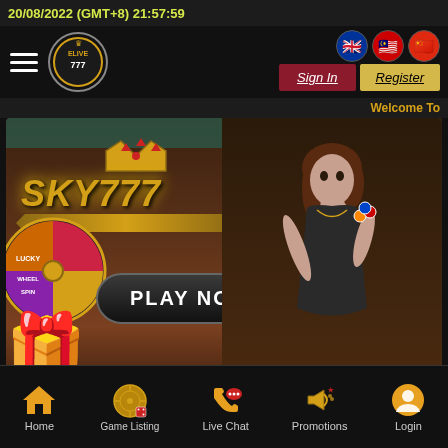20/08/2022 (GMT+8) 21:57:59
[Figure (screenshot): Elive 777 casino website header with logo, Sign In and Register buttons, language flags (UK, Malaysia, China)]
Welcome To
[Figure (illustration): SKY777 casino banner with a woman in black dress holding casino chips, Lucky Wheel Spin promotion, PLAY NOW button, treasure chest, and download bar with Android/iOS/Desktop icons]
Home | Game Listing | Live Chat | Promotions | Login